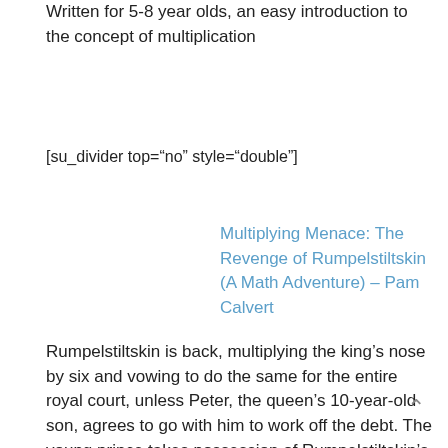Written for 5-8 year olds, an easy introduction to the concept of multiplication
[su_divider top="no" style="double"]
Multiplying Menace: The Revenge of Rumpelstiltskin (A Math Adventure) – Pam Calvert
Rumpelstiltskin is back, multiplying the king's nose by six and vowing to do the same for the entire royal court, unless Peter, the queen's 10-year-old son, agrees to go with him to work off the debt. The young prince takes possession of Rumpelstiltskin's magical multiplying stick and restores normalcy to the kingdom.